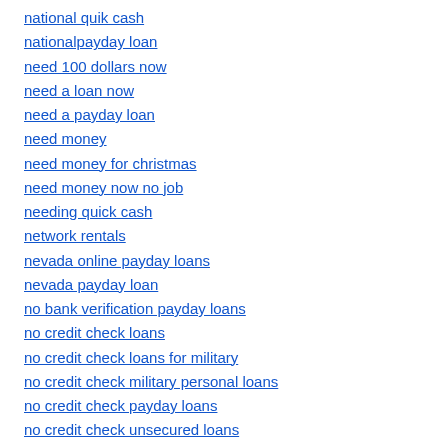national quik cash
nationalpayday loan
need 100 dollars now
need a loan now
need a payday loan
need money
need money for christmas
need money now no job
needing quick cash
network rentals
nevada online payday loans
nevada payday loan
no bank verification payday loans
no credit check loans
no credit check loans for military
no credit check military personal loans
no credit check payday loans
no credit check unsecured loans
no fax payday loan